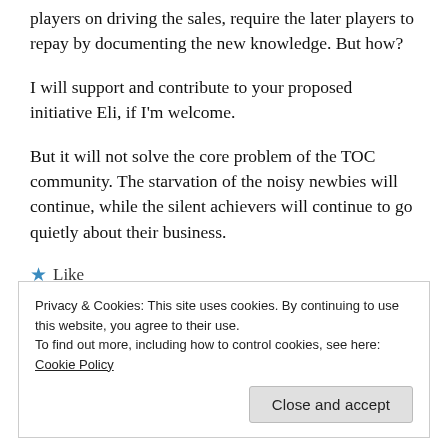players on driving the sales, require the later players to repay by documenting the new knowledge. But how?
I will support and contribute to your proposed initiative Eli, if I'm welcome.
But it will not solve the core problem of the TOC community. The starvation of the noisy newbies will continue, while the silent achievers will continue to go quietly about their business.
★ Like
Privacy & Cookies: This site uses cookies. By continuing to use this website, you agree to their use.
To find out more, including how to control cookies, see here: Cookie Policy
Close and accept